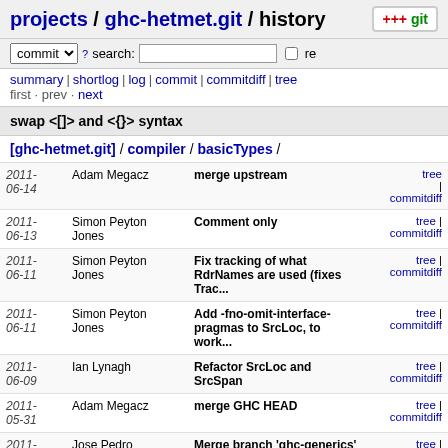projects / ghc-hetmet.git / history
commit search: re
summary | shortlog | log | commit | commitdiff | tree
first · prev · next
swap <[]> and <{}> syntax
[ghc-hetmet.git] / compiler / basicTypes /
| Date | Author | Message | Links |
| --- | --- | --- | --- |
| 2011-06-14 | Adam Megacz | merge upstream | tree | commitdiff |
| 2011-06-13 | Simon Peyton Jones | Comment only | tree | commitdiff |
| 2011-06-11 | Simon Peyton Jones | Fix tracking of what RdrNames are used (fixes Trac... | tree | commitdiff |
| 2011-06-11 | Simon Peyton Jones | Add -fno-omit-interface-pragmas to SrcLoc, to work... | tree | commitdiff |
| 2011-06-09 | Ian Lynagh | Refactor SrcLoc and SrcSpan | tree | commitdiff |
| 2011-05-31 | Adam Megacz | merge GHC HEAD | tree | commitdiff |
| 2011-05-20 | Jose Pedro Magalhaes | Merge branch 'ghc-generics' of | tree | commitdiff |